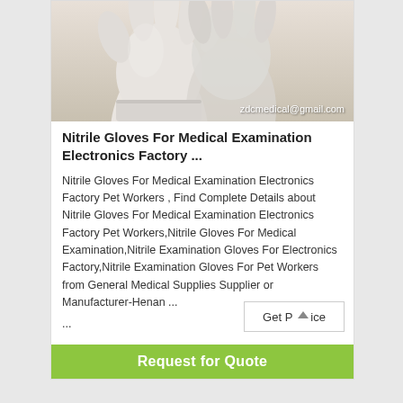[Figure (photo): Close-up photo of hands wearing white nitrile/latex medical examination gloves, with email address 'zdcmedical@gmail.com' overlaid at the bottom]
Nitrile Gloves For Medical Examination Electronics Factory ...
Nitrile Gloves For Medical Examination Electronics Factory Pet Workers , Find Complete Details about Nitrile Gloves For Medical Examination Electronics Factory Pet Workers,Nitrile Gloves For Medical Examination,Nitrile Examination Gloves For Electronics Factory,Nitrile Examination Gloves For Pet Workers from General Medical Supplies Supplier or Manufacturer-Henan ...
...
Get Price
Request for Quote